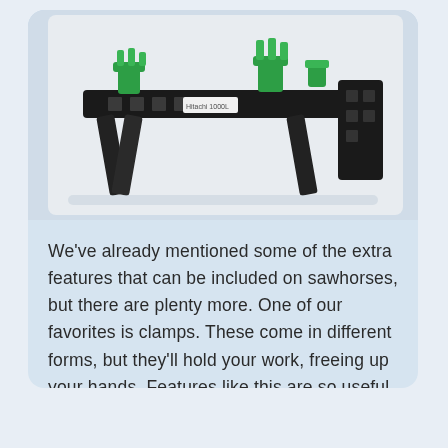[Figure (photo): A black sawhorse with green clamps/clips attached to the top rail, photographed against a white background. The sawhorse is made of black plastic or metal with square holes along the horizontal beam, and green plastic clamping accessories are mounted on top.]
We've already mentioned some of the extra features that can be included on sawhorses, but there are plenty more. One of our favorites is clamps. These come in different forms, but they'll hold your work, freeing up your hands. Features like this are so useful, it's like having another set of hands.